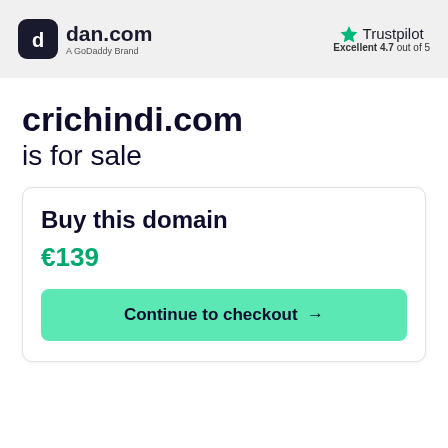[Figure (logo): dan.com logo with GoDaddy Brand tagline on grey header bar]
[Figure (logo): Trustpilot logo with green star and Excellent 4.7 out of 5 rating]
crichindi.com is for sale
Buy this domain
€139
Continue to checkout →